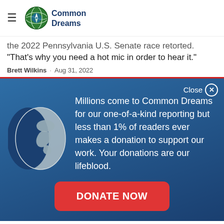Common Dreams
the 2022 Pennsylvania U.S. Senate race retorted. "That's why you need a hot mic in order to hear it."
Brett Wilkins · Aug 31, 2022
[Figure (infographic): Common Dreams donation popup overlay with globe icon and donate now button on dark blue background]
Millions come to Common Dreams for our one-of-a-kind reporting but less than 1% of readers ever makes a donation to support our work. Your donations are our lifeblood.
DONATE NOW